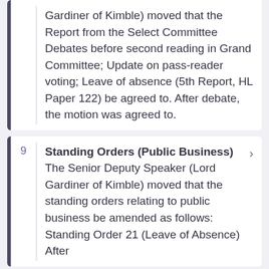Gardiner of Kimble) moved that the Report from the Select Committee Debates before second reading in Grand Committee; Update on pass-reader voting; Leave of absence (5th Report, HL Paper 122) be agreed to. After debate, the motion was agreed to.
9 Standing Orders (Public Business) The Senior Deputy Speaker (Lord Gardiner of Kimble) moved that the standing orders relating to public business be amended as follows: Standing Order 21 (Leave of Absence) After